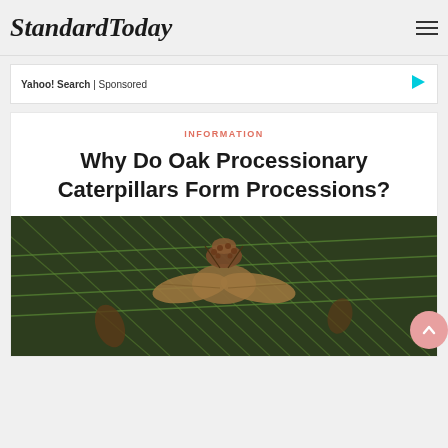StandardToday
Yahoo! Search | Sponsored
INFORMATION
Why Do Oak Processionary Caterpillars Form Processions?
[Figure (photo): Close-up photo of a moth on pine needles with caterpillars/eggs visible on a pine branch]